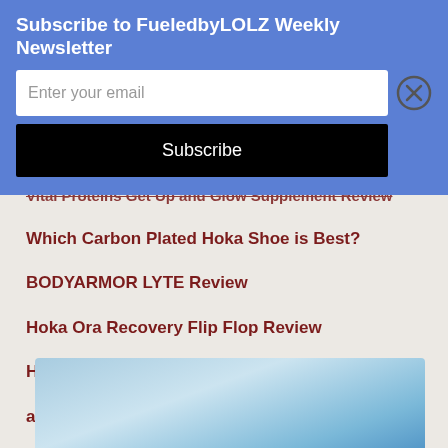Subscribe to FueledbyLOLZ Weekly Newsletter
Enter your email
Subscribe
Vital Proteins Get Up and Glow Supplement Review
Which Carbon Plated Hoka Shoe is Best?
BODYARMOR LYTE Review
Hoka Ora Recovery Flip Flop Review
How to Know You Need a Wide Running Shoe
adidas Ultraboost 22 Shoe Review
Hoka Tecton X Shoe Review
[Figure (photo): Blue gradient background image, light blue fading to slightly darker blue, partial view at bottom of page]